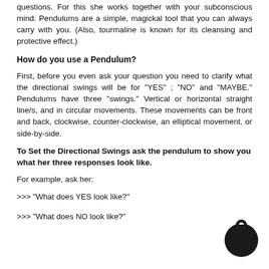questions. For this she works together with your subconscious mind. Pendulums are a simple, magickal tool that you can always carry with you. (Also, tourmaline is known for its cleansing and protective effect.)
How do you use a Pendulum?
First, before you even ask your question you need to clarify what the directional swings will be for "YES" ; "NO" and "MAYBE." Pendulums have three "swings." Vertical or horizontal straight line/s, and in circular movements. These movements can be front and back, clockwise, counter-clockwise, an elliptical movement, or side-by-side.
To Set the Directional Swings ask the pendulum to show you what her three responses look like.
For example, ask her:
>>> "What does YES look like?"
>>> "What does NO look like?"
[Figure (illustration): A circular pendulum icon — dark circle with a ring/loop at top, resembling a pendulum bob viewed from the side.]